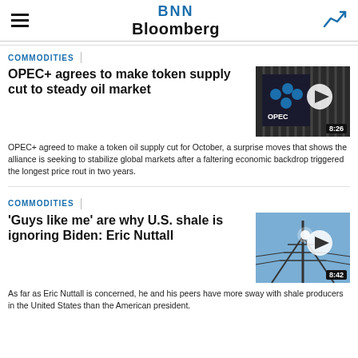BNN Bloomberg
COMMODITIES
OPEC+ agrees to make token supply cut to steady oil market
[Figure (photo): OPEC logo sign on a dark background with vertical lines, with a video play button overlay and duration badge showing 8:26]
OPEC+ agreed to make a token oil supply cut for October, a surprise moves that shows the alliance is seeking to stabilize global markets after a faltering economic backdrop triggered the longest price rout in two years.
COMMODITIES
'Guys like me' are why U.S. shale is ignoring Biden: Eric Nuttall
[Figure (photo): Power line tower against a blue sky, with a video play button overlay and duration badge showing 8:42]
As far as Eric Nuttall is concerned, he and his peers have more sway with shale producers in the United States than the American president.